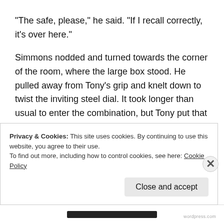“The safe, please,” he said. “If I recall correctly, it’s over here.”
Simmons nodded and turned towards the corner of the room, where the large box stood. He pulled away from Tony’s grip and knelt down to twist the inviting steel dial. It took longer than usual to enter the combination, but Tony put that down to the man’s nerves rather than anything suspicious. The safe door clicked and the hinges squealed as Simmons began to pull it open. As soon as the gap was wide
Privacy & Cookies: This site uses cookies. By continuing to use this website, you agree to their use.
To find out more, including how to control cookies, see here: Cookie Policy
Close and accept